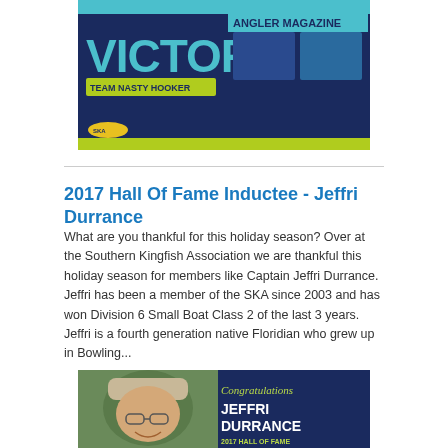[Figure (photo): Banner image showing 'VICTORY' text with 'TEAM NASTY HOOKER' label and 'ANGLER MAGAZINE' text on a blue background with lime green border strip.]
2017 Hall Of Fame Inductee - Jeffri Durrance
What are you thankful for this holiday season? Over at the Southern Kingfish Association we are thankful this holiday season for members like Captain Jeffri Durrance. Jeffri has been a member of the SKA since 2003 and has won Division 6 Small Boat Class 2 of the last 3 years. Jeffri is a fourth generation native Floridian who grew up in Bowling...
[Figure (photo): Congratulations banner for Jeffri Durrance, 2017 Hall of Fame inductee. Shows a man with a cap and glasses on the left side, and on the right a dark blue background with 'Congratulations' in cursive and 'JEFFRI DURRANCE' in large white bold text and '2017 HALL OF FAME' below.]